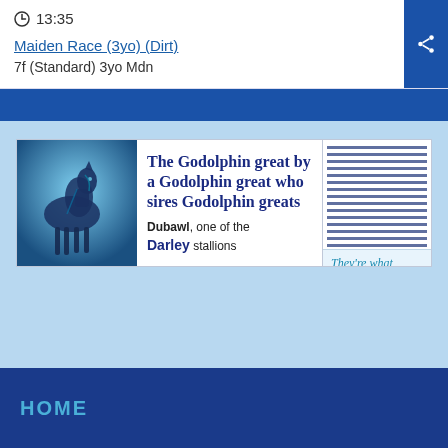13:35
Maiden Race (3yo) (Dirt)
7f (Standard) 3yo Mdn
[Figure (illustration): Advertisement banner for Darley stallions featuring a horse photo on the left, headline 'The Godolphin great by a Godolphin great who sires Godolphin greats', subtext 'Dubawl, one of the Darley stallions', decorative lines on the right, and tagline 'They're what happens next...']
HOME